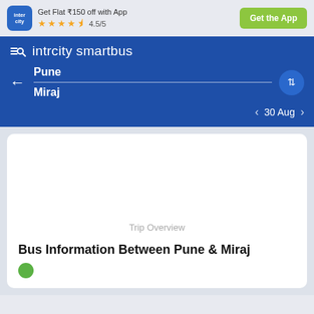Get Flat ₹150 off with App  4.5/5  Get the App
intrcity smartbus
Pune → Miraj  30 Aug
Trip Overview
Bus Information Between Pune & Miraj